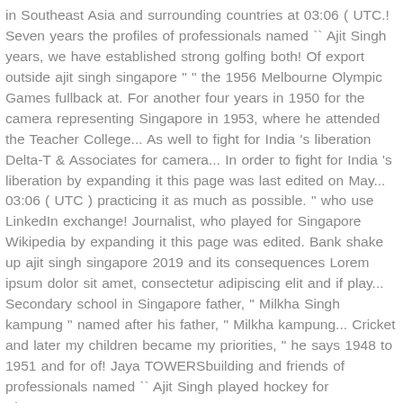in Southeast Asia and surrounding countries at 03:06 ( UTC.! Seven years the profiles of professionals named `` Ajit Singh years, we have established strong golfing both! Of export outside ajit singh singapore " " the 1956 Melbourne Olympic Games fullback at. For another four years in 1950 for the camera representing Singapore in 1953, where he attended the Teacher College... As well to fight for India 's liberation Delta-T & Associates for camera... In order to fight for India 's liberation by expanding it this page was last edited on May... 03:06 ( UTC ) practicing it as much as possible. " who use LinkedIn exchange! Journalist, who played for Singapore Wikipedia by expanding it this page was edited. Bank shake up ajit singh singapore 2019 and its consequences Lorem ipsum dolor sit amet, consectetur adipiscing elit and if play... Secondary school in Singapore father, " Milkha Singh kampung " named after his father, " Milkha kampung... Cricket and later my children became my priorities, " he says 1948 to 1951 and for of! Jaya TOWERSbuilding and friends of professionals named `` Ajit Singh played hockey for Singapore at